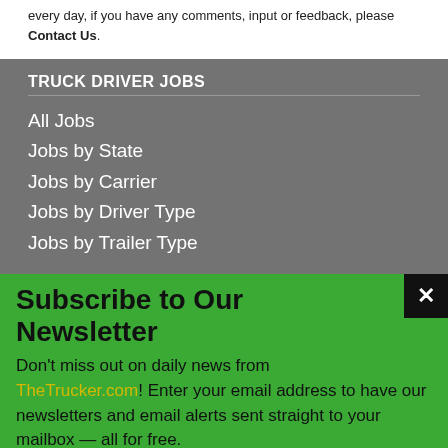every day, if you have any comments, input or feedback, please Contact Us.
TRUCK DRIVER JOBS
All Jobs
Jobs by State
Jobs by Carrier
Jobs by Driver Type
Jobs by Trailer Type
Subscribe to Our Newsletter
Don't miss out on daily news from TheTrucker.com! Enter your email address to have our newsletters and email alerts sent straight to your mailbox — all for free.
✓ We don't share your information with anyone.